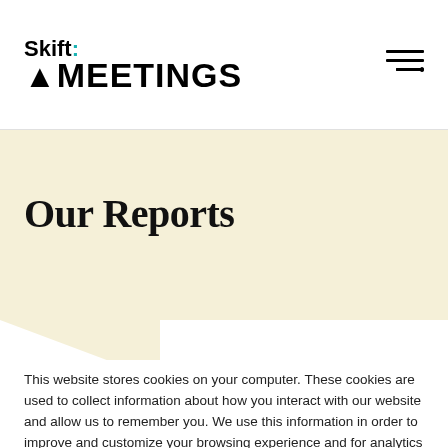Skift MEETINGS
Our Reports
This website stores cookies on your computer. These cookies are used to collect information about how you interact with our website and allow us to remember you. We use this information in order to improve and customize your browsing experience and for analytics and metrics about our visitors both on this website and other media. To find out more about the cookies we use, see our Privacy Policy.